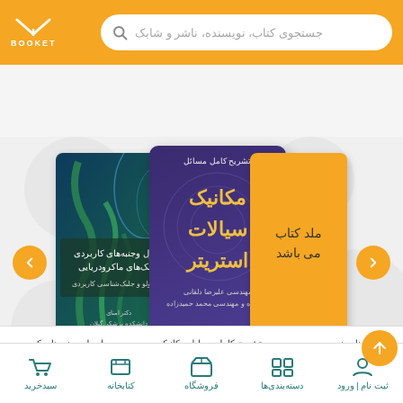[Figure (screenshot): Booket bookstore app header with logo and search bar]
[Figure (screenshot): Book carousel showing three books: algae sciences book (left), fluid mechanics stritler book (center), orange placeholder card (right)]
اصول وجنبه های کاربردی جلبک های ماکرود
تشریح کامل مسایل مکانیک سیالات استریتر
برنامه نویسی SA
[Figure (screenshot): Bottom navigation bar with icons for سبدخرید (cart), کتابخانه (library), فروشگاه (store), دسته‌بندی‌ها (categories), ثبت نام | ورود (register/login)]